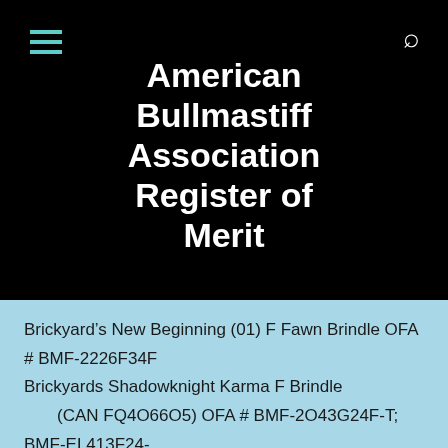American Bullmastiff Association Register of Merit
Brickyard’s New Beginning (01) F Fawn Brindle OFA # BMF-2226F34F
Brickyards Shadowknight Karma F Brindle (CAN FQ4O66O5) OFA # BMF-2O43G24F-T; BMF-EL413F24-
[Figure (photo): Black and white photographs of dogs at a show or event, partially visible at the bottom of the page.]